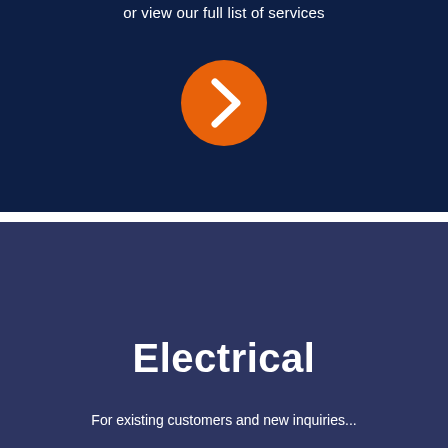or view our full list of services
[Figure (illustration): Orange circular button with white right-pointing chevron arrow]
Electrical
For existing customers and new inquiries...